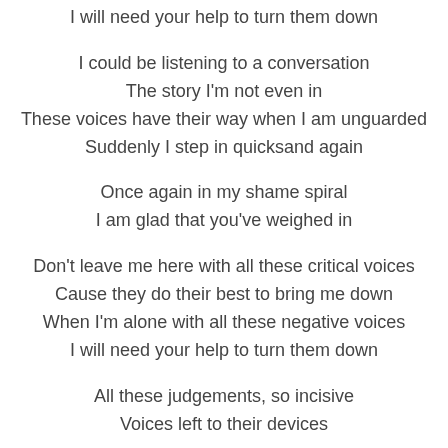I will need your help to turn them down
I could be listening to a conversation
The story I'm not even in
These voices have their way when I am unguarded
Suddenly I step in quicksand again
Once again in my shame spiral
I am glad that you've weighed in
Don't leave me here with all these critical voices
Cause they do their best to bring me down
When I'm alone with all these negative voices
I will need your help to turn them down
All these judgements, so incisive
Voices left to their devices